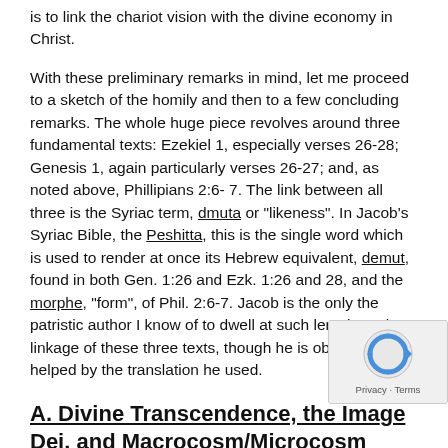is to link the chariot vision with the divine economy in Christ.
With these preliminary remarks in mind, let me proceed to a sketch of the homily and then to a few concluding remarks. The whole huge piece revolves around three fundamental texts: Ezekiel 1, especially verses 26-28; Genesis 1, again particularly verses 26-27; and, as noted above, Phillipians 2:6-7. The link between all three is the Syriac term, dmuta or "likeness". In Jacob's Syriac Bible, the Peshitta, this is the single word which is used to render at once its Hebrew equivalent, demut, found in both Gen. 1:26 and Ezk. 1:26 and 28, and the morphe, "form", of Phil. 2:6-7. Jacob is the only the patristic author I know of to dwell at such length on the linkage of these three texts, though he is obviously helped by the translation he used.
A. Divine Transcendence, the Image Dei, and Macrocosm/Microcosm
The homily opens with what is for Jacob a typically